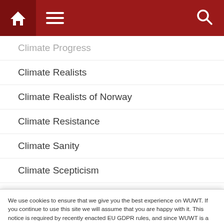Navigation bar with home icon, menu icon, search icon
Climate Progress
Climate Realists
Climate Realists of Norway
Climate Resistance
Climate Sanity
Climate Scepticism
Climate Science – Pielke Sr.
Climate Skeptic
We use cookies to ensure that we give you the best experience on WUWT. If you continue to use this site we will assume that you are happy with it. This notice is required by recently enacted EU GDPR rules, and since WUWT is a globally read website, we need to keep the bureaucrats off our case! Cookie Policy
Dr. Judith Curry